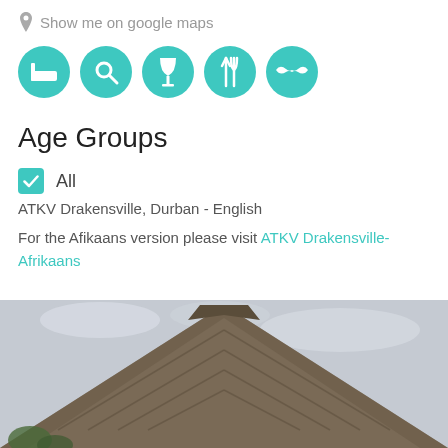Show me on google maps
[Figure (infographic): Five teal circular icons: bed/accommodation, search/magnify, wine glass, fork/utensils, mustache]
Age Groups
✓ All
ATKV Drakensville, Durban - English
For the Afikaans version please visit ATKV Drakensville-Afrikaans
[Figure (photo): Thatched roof of a building against a cloudy sky, with trees visible in the lower left]